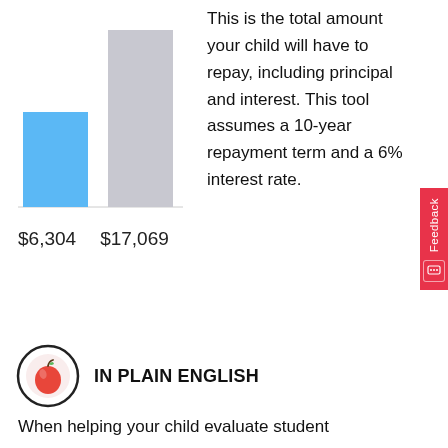[Figure (bar-chart): Total repayment comparison]
This is the total amount your child will have to repay, including principal and interest. This tool assumes a 10-year repayment term and a 6% interest rate.
$6,304  $17,069
[Figure (illustration): Apple icon in a circle — 'In Plain English' section icon]
IN PLAIN ENGLISH
When helping your child evaluate student